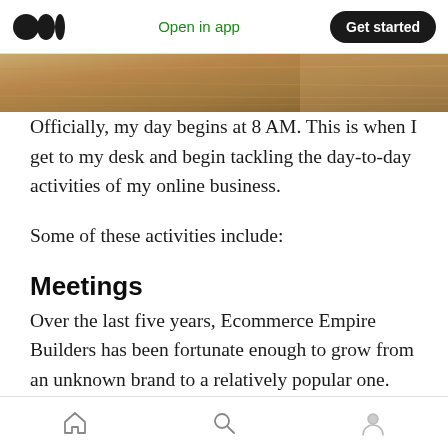Medium — Open in app | Get started
[Figure (photo): A partial view of a photo showing a wooden desk surface, warm brown tones visible as a cropped strip at the top of the content area.]
Officially, my day begins at 8 AM. This is when I get to my desk and begin tackling the day-to-day activities of my online business.
Some of these activities include:
Meetings
Over the last five years, Ecommerce Empire Builders has been fortunate enough to grow from an unknown brand to a relatively popular one. During this period, our team has grown to over
Home | Search | Profile